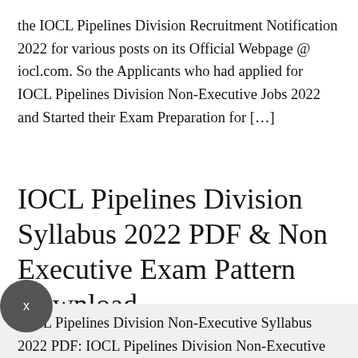the IOCL Pipelines Division Recruitment Notification 2022 for various posts on its Official Webpage @ iocl.com. So the Applicants who had applied for IOCL Pipelines Division Non-Executive Jobs 2022 and Started their Exam Preparation for […]
IOCL Pipelines Division Syllabus 2022 PDF & Non Executive Exam Pattern Download
IOCL Pipelines Division Non-Executive Syllabus 2022 PDF: IOCL Pipelines Division Non-Executive